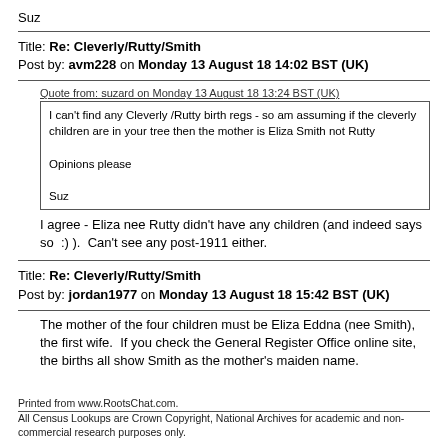Suz
Title: Re: Cleverly/Rutty/Smith
Post by: avm228 on Monday 13 August 18 14:02 BST (UK)
Quote from: suzard on Monday 13 August 18 13:24 BST (UK)
I can't find any Cleverly /Rutty birth regs - so am assuming if the cleverly children are in your tree then the mother is Eliza Smith not Rutty

Opinions please

Suz
I agree - Eliza nee Rutty didn't have any children (and indeed says so  :) ).  Can't see any post-1911 either.
Title: Re: Cleverly/Rutty/Smith
Post by: jordan1977 on Monday 13 August 18 15:42 BST (UK)
The mother of the four children must be Eliza Eddna (nee Smith), the first wife.  If you check the General Register Office online site, the births all show Smith as the mother's maiden name.
Printed from www.RootsChat.com.
All Census Lookups are Crown Copyright, National Archives for academic and non-commercial research purposes only.